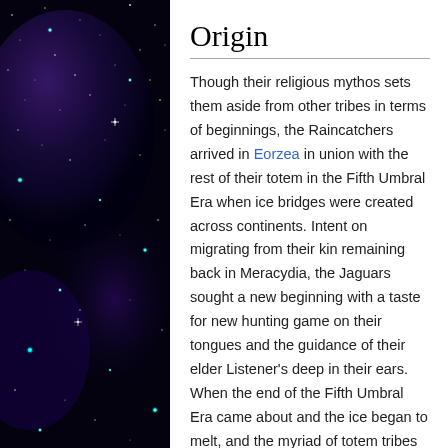[Figure (photo): Dark night sky with stars and purple/blue nebula glow, vertical strip on left side of page]
Origin
Though their religious mythos sets them aside from other tribes in terms of beginnings, the Raincatchers arrived in Eorzea in union with the rest of their totem in the Fifth Umbral Era when ice bridges were created across continents. Intent on migrating from their kin remaining back in Meracydia, the Jaguars sought a new beginning with a taste for new hunting game on their tongues and the guidance of their elder Listener's deep in their ears. When the end of the Fifth Umbral Era came about and the ice began to melt, and the myriad of totem tribes settled further to the eastern and southern regions of Eorzea, the Raincatchers decided to stay behind on its close western island -